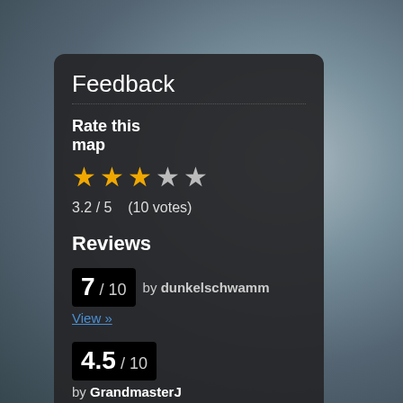[Figure (screenshot): Blurred game map background image with dark grey tones]
Feedback
Rate this map
[Figure (other): Star rating: 3 filled gold stars, 1 half/outline star, 1 empty star]
3.2 / 5   (10 votes)
Reviews
7 / 10  by dunkelschwamm
View »
4.5 / 10
by GrandmasterJ
View »